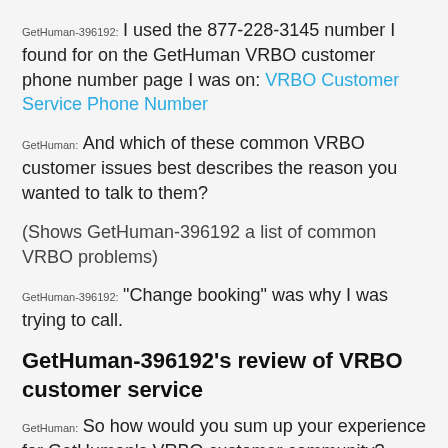GetHuman-396192: I used the 877-228-3145 number I found for on the GetHuman VRBO customer phone number page I was on: VRBO Customer Service Phone Number
GetHuman: And which of these common VRBO customer issues best describes the reason you wanted to talk to them?
(Shows GetHuman-396192 a list of common VRBO problems)
GetHuman-396192: "Change booking" was why I was trying to call.
GetHuman-396192's review of VRBO customer service
GetHuman: So how would you sum up your experience for GetHuman's VRBO customer community? We'll